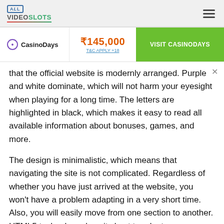ALL VIDEO SLOTS
[Figure (infographic): CasinoDays banner ad with logo, ₹145,000 bonus offer and VISIT CASINODAYS button]
that the official website is modernly arranged. Purple and white dominate, which will not harm your eyesight when playing for a long time. The letters are highlighted in black, which makes it easy to read all available information about bonuses, games, and more.
The design is minimalistic, which means that navigating the site is not complicated. Regardless of whether you have just arrived at the website, you won't have a problem adapting in a very short time. Also, you will easily move from one section to another. HTML5 technology does its best to adapt every new page to